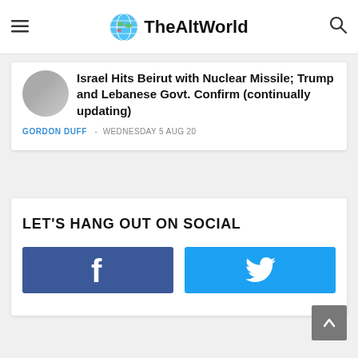TheAltWorld
Israel Hits Beirut with Nuclear Missile; Trump and Lebanese Govt. Confirm (continually updating)
GORDON DUFF  -  WEDNESDAY 5 AUG 20
LET'S HANG OUT ON SOCIAL